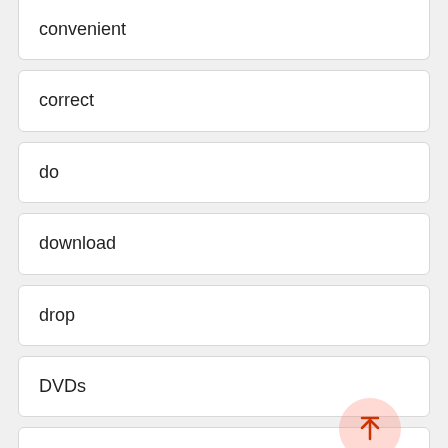convenient
correct
do
download
drop
DVDs
evaluate
film